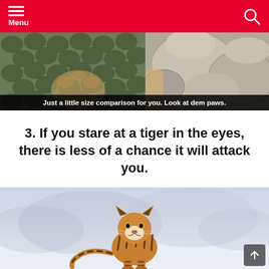Menu
[Figure (photo): Close-up photo of large tiger paws resting on rocky surface with vegetation, with caption bar at bottom reading: Just a little size comparison for you. Look at dem paws.]
Just a little size comparison for you. Look at dem paws.
3. If you stare at a tiger in the eyes, there is less of a chance it will attack you.
[Figure (photo): Photo of a tiger running toward the camera through snow, with mountains in the blurred background.]